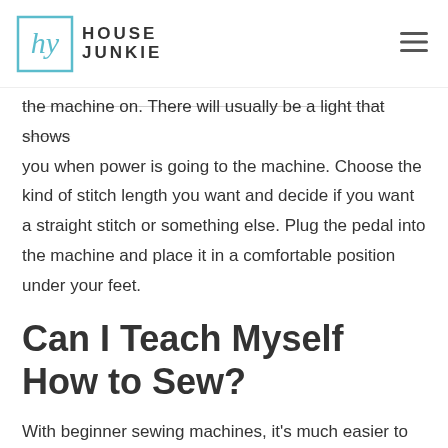HOUSE JUNKIE
the machine on. There will usually be a light that shows you when power is going to the machine. Choose the kind of stitch length you want and decide if you want a straight stitch or something else. Plug the pedal into the machine and place it in a comfortable position under your feet.
Can I Teach Myself How to Sew?
With beginner sewing machines, it's much easier to practice your skills these days.
Teaching yourself how to sew is possible. There are tons of sewing machine step by step guides out there, and you learn to sew using video tutorials as well. However, it's important to remember that you probably won't start sewing